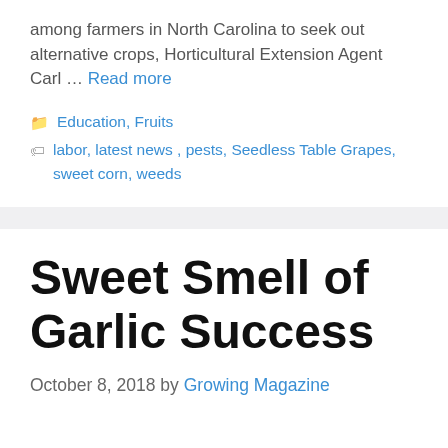among farmers in North Carolina to seek out alternative crops, Horticultural Extension Agent Carl … Read more
Categories: Education, Fruits
Tags: labor, latest news, pests, Seedless Table Grapes, sweet corn, weeds
Sweet Smell of Garlic Success
October 8, 2018 by Growing Magazine